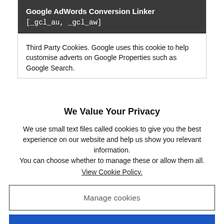Google AdWords Conversion Linker
[_gcl_au, _gcl_aw]
Third Party Cookies. Google uses this cookie to help customise adverts on Google Properties such as Google Search.
We Value Your Privacy
We use small text files called cookies to give you the best experience on our website and help us show you relevant information.
You can choose whether to manage these or allow them all.
View Cookie Policy.
Manage cookies
Allow all